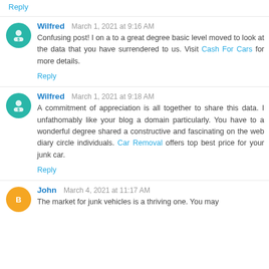Reply
Wilfred  March 1, 2021 at 9:16 AM
Confusing post! I on a to a great degree basic level moved to look at the data that you have surrendered to us. Visit Cash For Cars for more details.
Reply
Wilfred  March 1, 2021 at 9:18 AM
A commitment of appreciation is all together to share this data. I unfathomably like your blog a domain particularly. You have to a wonderful degree shared a constructive and fascinating on the web diary circle individuals. Car Removal offers top best price for your junk car.
Reply
John  March 4, 2021 at 11:17 AM
The market for junk vehicles is a thriving one. You may...